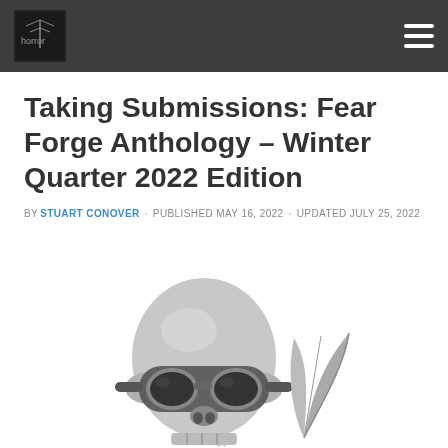Horror Tree [logo] [hamburger menu]
Taking Submissions: Fear Forge Anthology – Winter Quarter 2022 Edition
BY STUART CONOVER · PUBLISHED MAY 16, 2022 · UPDATED JULY 25, 2022
[Figure (photo): Black and white image of a skull wearing aviator goggles with a quill or feather beside it, partially cropped at the bottom of the page.]